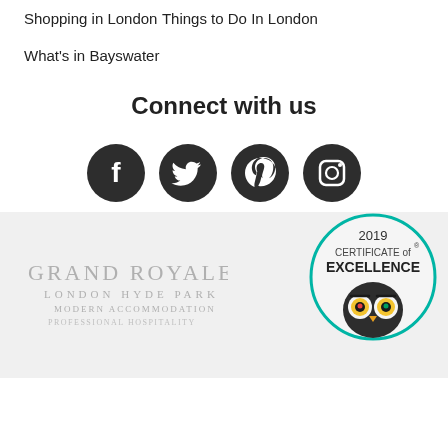Shopping in London
Things to Do In London
What's in Bayswater
Connect with us
[Figure (infographic): Four social media icons in dark circles: Facebook, Twitter, Pinterest, Instagram]
[Figure (logo): Grand Royale London Hyde Park hotel logo with text: GRAND ROYALE, LONDON HYDE PARK, MODERN ACCOMMODATION, PROFESSIONAL HOSPITALITY]
[Figure (other): TripAdvisor 2019 Certificate of Excellence badge with owl logo]